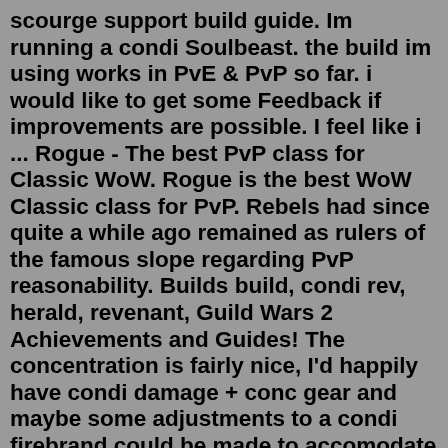scourge support build guide. Im running a condi Soulbeast. the build im using works in PvE & PvP so far. i would like to get some Feedback if improvements are possible. I feel like i ... Rogue - The best PvP class for Classic WoW. Rogue is the best WoW Classic class for PvP. Rebels had since quite a while ago remained as rulers of the famous slope regarding PvP reasonability. Builds build, condi rev, herald, revenant, Guild Wars 2 Achievements and Guides! The concentration is fairly nice, I'd happily have condi damage + conc gear and maybe some adjustments to a condi firebrand could be made to accomodate for extra buffing, but condi firebrand is a DPS build and doesn't have abundant access to healing skills, so that ... Apr 29, 2022 · Condi Soulbeast is a DPS build with high sustained damage that also provides strong party buffs with Sun Spirit, One Wolf Pack, and crowd control (CC) skills. This build is mostly used for 100CM, for most other fractals, especially if your group is playing power builds, you'll be better off playing the...